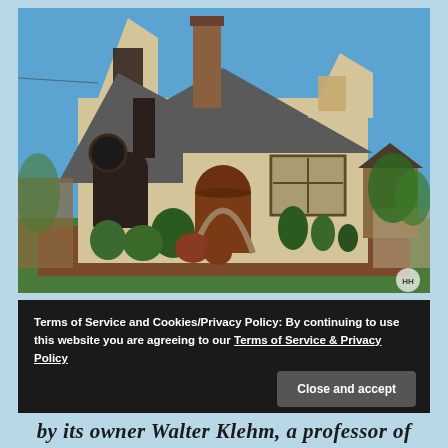[Figure (photo): Exterior photograph of a Tudor Revival style house with stucco walls, dark half-timbering, steep pointed gabled roof, brick chimney, arched wooden front door, and landscaped front yard with ornamental topiary shrubs, against a clear blue sky.]
Terms of Service and Cookies/Privacy Policy: By continuing to use this website you are agreeing to our Terms of Service & Privacy Policy
Close and accept
by its owner Walter Klehm, a professor of